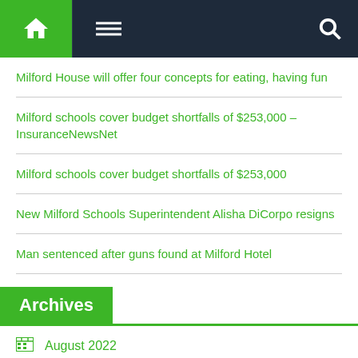Navigation bar with home, menu, and search icons
Milford House will offer four concepts for eating, having fun
Milford schools cover budget shortfalls of $253,000 – InsuranceNewsNet
Milford schools cover budget shortfalls of $253,000
New Milford Schools Superintendent Alisha DiCorpo resigns
Man sentenced after guns found at Milford Hotel
Archives
August 2022
July 2022